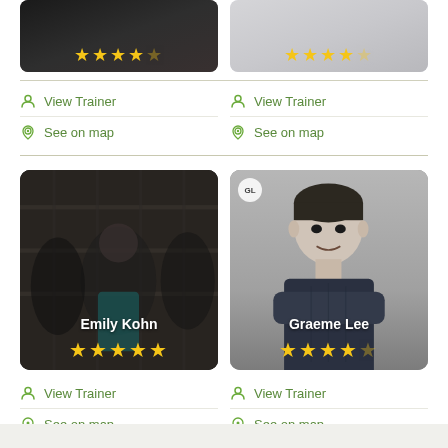[Figure (photo): Partial top card left - dark gym scene with star rating overlay (4 stars)]
[Figure (photo): Partial top card right - light background with star rating overlay (4 stars)]
View Trainer
View Trainer
See on map
See on map
[Figure (photo): Emily Kohn trainer card - group fitness class in gym, 5 star rating]
[Figure (photo): Graeme Lee trainer card - male trainer in dark shirt with GL badge, 4 star rating]
View Trainer
View Trainer
See on map
See on map